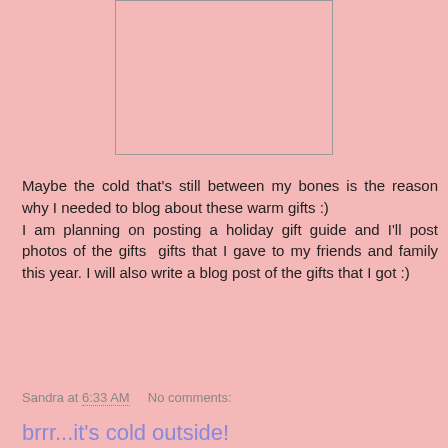[Figure (other): Empty image placeholder box with border]
Maybe the cold that's still between my bones is the reason why I needed to blog about these warm gifts :) I am planning on posting a holiday gift guide and I'll post photos of the gifts  gifts that I gave to my friends and family this year. I will also write a blog post of the gifts that I got :)
Sandra at 6:33 AM    No comments:
brrr...it's cold outside!
I walked to Jay's work today again. It was so cold outside, but I enjoyed walking. The weather is actually very nice - a real winter day! When he went to work, I walked back. I had taken my camera with me, so I stopped several times to take